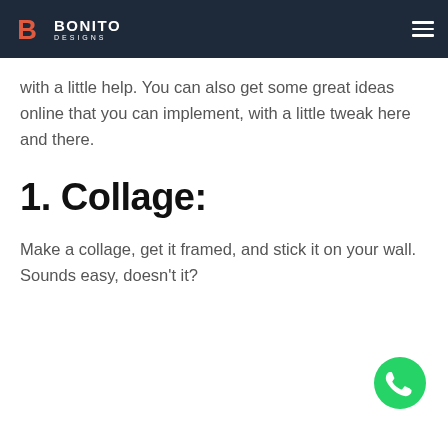Bonito Designs
…with a little help. You can also get some great ideas online that you can implement, with a little tweak here and there.
1. Collage:
Make a collage, get it framed, and stick it on your wall. Sounds easy, doesn't it?
[Figure (logo): WhatsApp contact button (green circle with phone icon)]